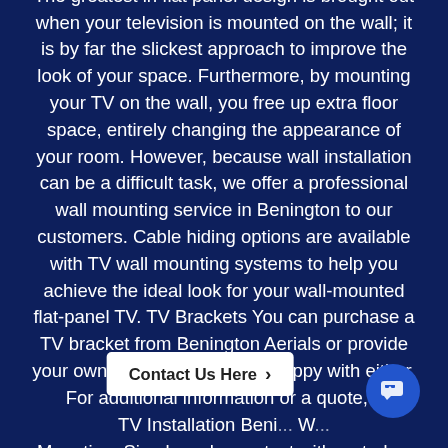The greatest in flat panel design is brought out when your television is mounted on the wall; it is by far the slickest approach to improve the look of your space. Furthermore, by mounting your TV on the wall, you free up extra floor space, entirely changing the appearance of your room. However, because wall installation can be a difficult task, we offer a professional wall mounting service in Benington to our customers. Cable hiding options are available with TV wall mounting systems to help you achieve the ideal look for your wall-mounted flat-panel TV. TV Brackets You can purchase a TV bracket from Benington Aerials or provide your own. Our engineers are happy with either. For additional information or a quote, c... TV Installation Beni... W... Mounting. Simply make contact with us today.